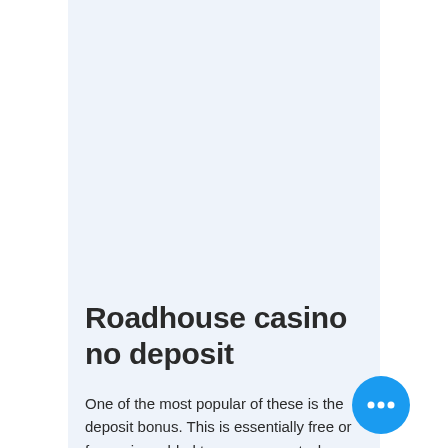Roadhouse casino no deposit
One of the most popular of these is the deposit bonus. This is essentially free or free spins added to your account when